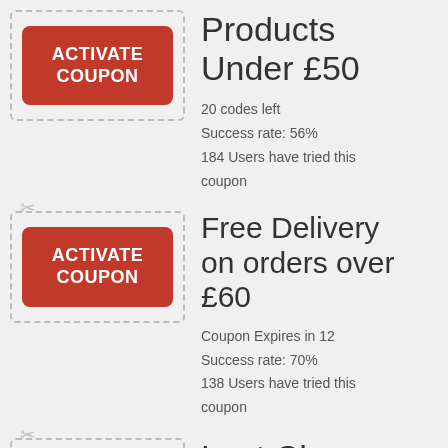[Figure (infographic): Activate Coupon button (red rounded rectangle) inside dashed border box - Products Under £50 coupon]
Products Under £50
20 codes left
Success rate: 56%
184 Users have tried this coupon
[Figure (infographic): Activate Coupon button (red rounded rectangle) inside dashed border box with scissors icon - Free Delivery on orders over £60 coupon]
Free Delivery on orders over £60
Coupon Expires in 12
Success rate: 70%
138 Users have tried this coupon
[Figure (infographic): Activate Coupon button (red rounded rectangle) inside dashed border box with scissors icon - Last Chance Deals - All Products coupon (partially visible)]
Last Chance Deals - All Products